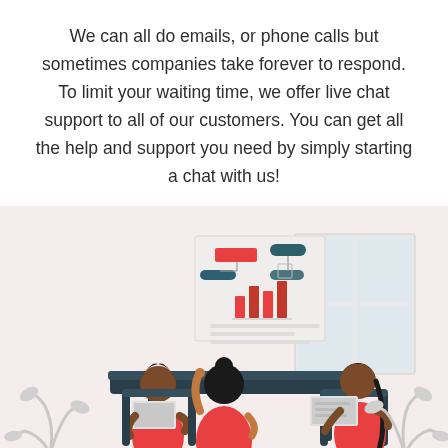We can all do emails, or phone calls but sometimes companies take forever to respond. To limit your waiting time, we offer live chat support to all of our customers. You can get all the help and support you need by simply starting a chat with us!
[Figure (illustration): Flat vector illustration of three people in red/coral shirts sitting around a dark table having a meeting. The person on the left holds a laptop, the middle person (with bun hairstyle, seen from behind) points upward, and the person on the right (with a braid) has a laptop open. Behind them is a presentation board with bar charts and flowchart elements. Decorative plants appear in the lower corners. Background is light pink/beige.]